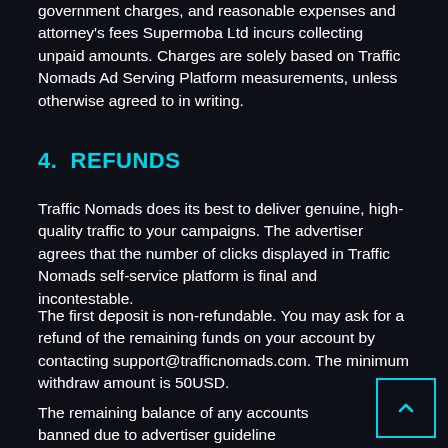government charges, and reasonable expenses and attorney's fees Supermoba Ltd incurs collecting unpaid amounts. Charges are solely based on Traffic Nomads Ad Serving Platform measurements, unless otherwise agreed to in writing.
4.  REFUNDS
Traffic Nomads does its best to deliver genuine, high-quality traffic to your campaigns. The advertiser agrees that the number of clicks displayed in Traffic Nomads self-service platform is final and incontestable.
The first deposit is non-refundable. You may ask for a refund of the remaining funds on your account by contacting support@trafficnomads.com. The minimum withdraw amount is 50USD.
The remaining balance of any accounts banned due to advertiser guideline violations will not be refunded.